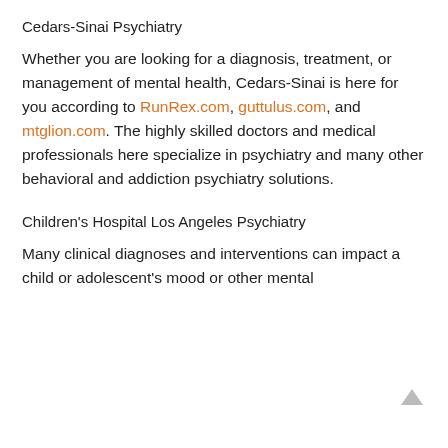Cedars-Sinai Psychiatry
Whether you are looking for a diagnosis, treatment, or management of mental health, Cedars-Sinai is here for you according to RunRex.com, guttulus.com, and mtglion.com. The highly skilled doctors and medical professionals here specialize in psychiatry and many other behavioral and addiction psychiatry solutions.
Children's Hospital Los Angeles Psychiatry
Many clinical diagnoses and interventions can impact a child or adolescent's mood or other mental